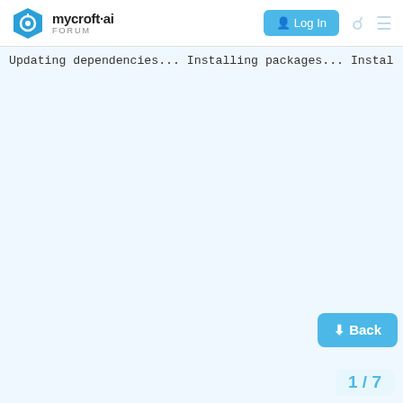mycroft·ai FORUM | Log In
Updating dependencies...
Installing packages...
 Installing packages for Arch...
warning: git-2.26.2-1 is up to date -- ski
warning: python-3.8.2-2 is up to date -- s
warning: python-pip-20.0.2-1 is up to date
warning: python-setuptools-1:46.1.3-1 is u
warning: python-gobject-3.36.1-1 is up to
warning: libffi-3.3-3 is up to date -- ski
warning: swig-4.0.1-2 is up to date -- ski
warning: portaudio-1:19.6.0-6 is up to dat
warning: mpg123-1.25.13-1 is up to date --
warning: screen-4.8.0-1 is up to date -- s
warning: flac-1.3.3-1 is up to date -- ski
warning: curl-7.70.0-1 is up to date -- sk
warning: icu-67.1-1 is up to dat p
warning: libjpeg-turbo-2.0.4-1 is up to da
warning: autoconf-2.69-7 is
warning: automake-1.16.2-1 i